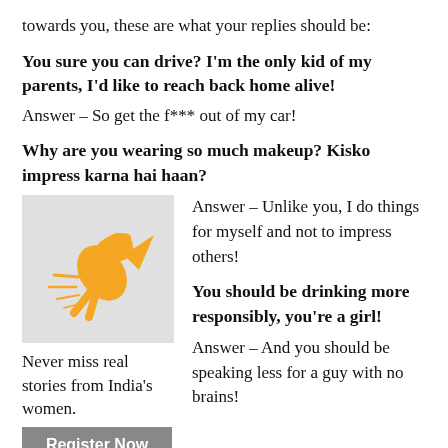towards you, these are what your replies should be:
You sure you can drive? I'm the only kid of my parents, I'd like to reach back home alive!
Answer – So get the f*** out of my car!
Why are you wearing so much makeup? Kisko impress karna hai haan?
[Figure (illustration): Orange/yellow illustration of a woman superhero flying on a grey background, used as an advertisement image for a women's stories platform.]
Never miss real stories from India's women.
Register Now
Answer – Unlike you, I do things for myself and not to impress others!
You should be drinking more responsibly, you're a girl!
Answer – And you should be speaking less for a guy with no brains!